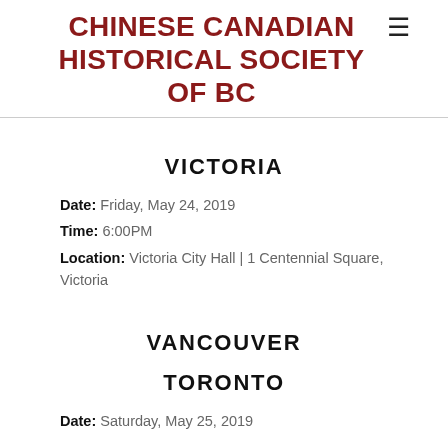CHINESE CANADIAN HISTORICAL SOCIETY OF BC
VICTORIA
Date: Friday, May 24, 2019
Time: 6:00PM
Location: Victoria City Hall | 1 Centennial Square, Victoria
VANCOUVER
TORONTO
Date: Saturday, May 25, 2019